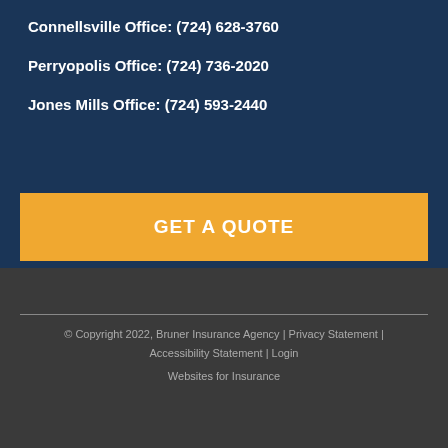Connellsville Office: (724) 628-3760
Perryopolis Office: (724) 736-2020
Jones Mills Office: (724) 593-2440
GET A QUOTE
© Copyright 2022, Bruner Insurance Agency | Privacy Statement | Accessibility Statement | Login
Websites for Insurance